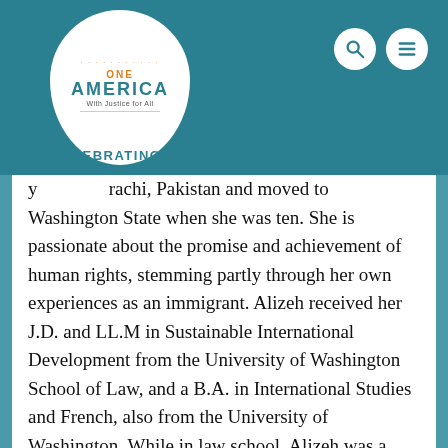[Figure (logo): OneAmerica 'With Justice for All' logo in white circle with teal header, celebrating 20 years banner]
y [Karachi, Pakistan and moved to Washington State when she was ten. She is passionate about the promise and achievement of human rights, stemming partly through her own experiences as an immigrant. Alizeh received her J.D. and LL.M in Sustainable International Development from the University of Washington School of Law, and a B.A. in International Studies and French, also from the University of Washington. While in law school, Alizeh was a member of the International Human Rights Clinic at the University of Washington School of Law, focusing on projects at the intersection of business and human rights.
Alizeh is committed to fighting for immigrant